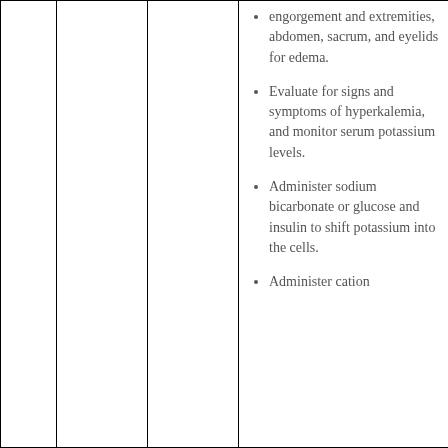engorgement and extremities, abdomen, sacrum, and eyelids for edema.
Evaluate for signs and symptoms of hyperkalemia, and monitor serum potassium levels.
Administer sodium bicarbonate or glucose and insulin to shift potassium into the cells.
Administer cation